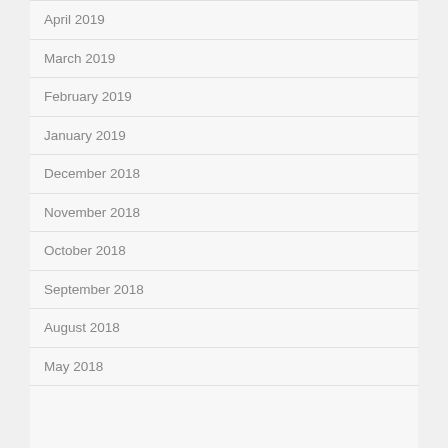April 2019
March 2019
February 2019
January 2019
December 2018
November 2018
October 2018
September 2018
August 2018
May 2018